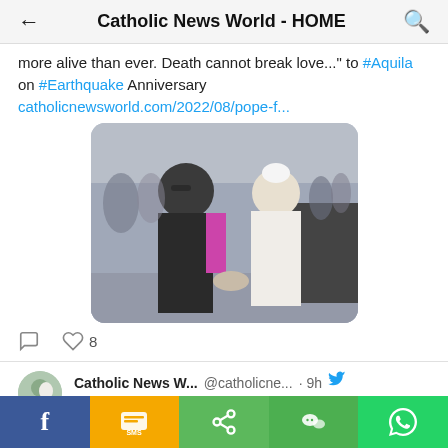Catholic News World - HOME
more alive than ever. Death cannot break love..." to #Aquila on #Earthquake Anniversary catholicnewsworld.com/2022/08/pope-f...
[Figure (photo): Two men shaking hands outdoors — one in a dark suit and glasses, another in white papal vestments (Pope Francis), with a crowd in the background.]
8 (like count)
Catholic News W... @catholicne... · 9h  Sunday #HolyMass Readings and Video :